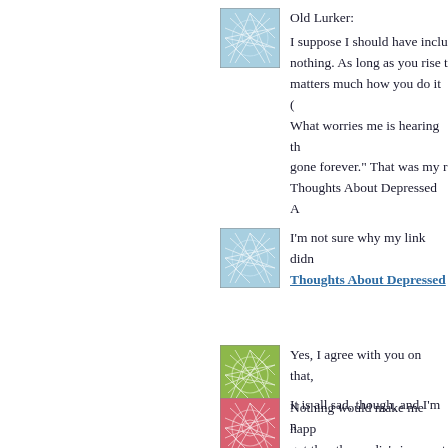[Figure (illustration): Blue abstract network/web avatar image]
Old Lurker:
I suppose I should have inclu nothing. As long as you rise t matters much how you do it ( What worries me is hearing th gone forever." That was my r Thoughts About Depressed A
[Figure (illustration): Blue abstract network/web avatar image]
I'm not sure why my link didn Thoughts About Depressed...
[Figure (illustration): Green abstract network/web avatar image]
Yes, I agree with you on that,
It is all sad, though, and I'm n
[Figure (illustration): Red/pink abstract network/web avatar image]
Nothing would make me happ got thru the media's iron curt